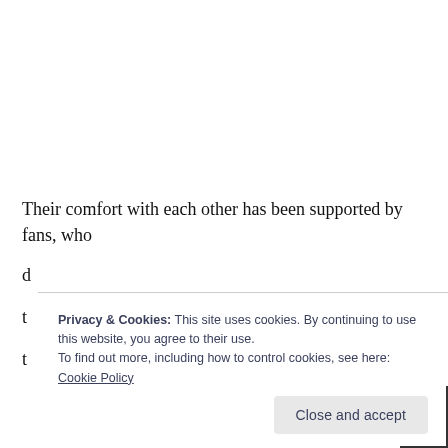Their comfort with each other has been supported by fans, who d... t... t...
Privacy & Cookies: This site uses cookies. By continuing to use this website, you agree to their use. To find out more, including how to control cookies, see here: Cookie Policy
Close and accept